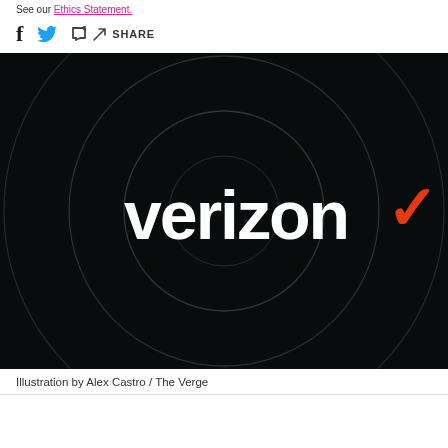See our Ethics Statement.
[Figure (illustration): Verizon logo on a dark background with concentric circles and a grid pattern. White bold 'verizon' text with an orange checkmark.]
Illustration by Alex Castro / The Verge